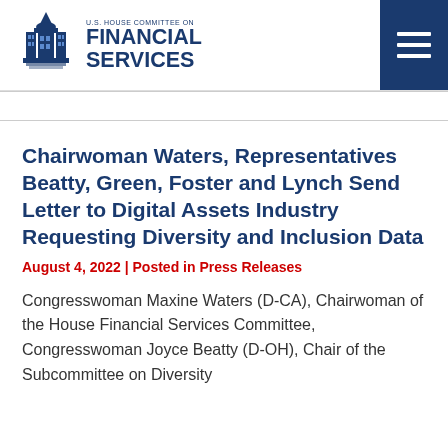[Figure (logo): U.S. House Committee on Financial Services logo with Capitol building icon and text]
Chairwoman Waters, Representatives Beatty, Green, Foster and Lynch Send Letter to Digital Assets Industry Requesting Diversity and Inclusion Data
August 4, 2022 | Posted in Press Releases
Congresswoman Maxine Waters (D-CA), Chairwoman of the House Financial Services Committee, Congresswoman Joyce Beatty (D-OH), Chair of the Subcommittee on Diversity